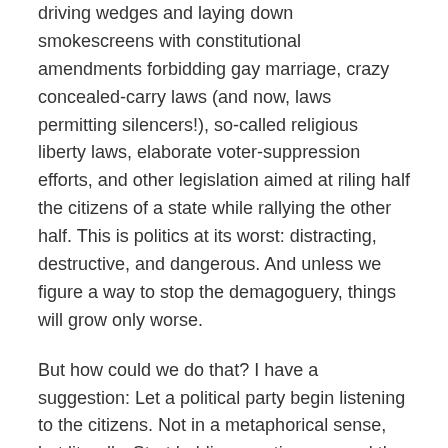driving wedges and laying down smokescreens with constitutional amendments forbidding gay marriage, crazy concealed-carry laws (and now, laws permitting silencers!), so-called religious liberty laws, elaborate voter-suppression efforts, and other legislation aimed at riling half the citizens of a state while rallying the other half. This is politics at its worst: distracting, destructive, and dangerous. And unless we figure a way to stop the demagoguery, things will grow only worse.
But how could we do that? I have a suggestion: Let a political party begin listening to the citizens. Not in a metaphorical sense, but literally. Start holding meetings around the state asking citizens what they need and want.
In doing so, we will quickly see that, given an opportunity to think about things, citizens aren't interested in wedge